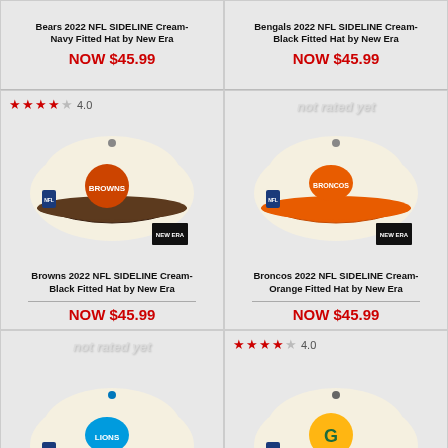Bears 2022 NFL SIDELINE Cream-Navy Fitted Hat by New Era
NOW $45.99
Bengals 2022 NFL SIDELINE Cream-Black Fitted Hat by New Era
NOW $45.99
[Figure (photo): Browns 2022 NFL SIDELINE Cream-Black Fitted Hat by New Era, rating 4.0 stars]
Browns 2022 NFL SIDELINE Cream-Black Fitted Hat by New Era
NOW $45.99
[Figure (photo): Broncos 2022 NFL SIDELINE Cream-Orange Fitted Hat by New Era, not rated yet]
Broncos 2022 NFL SIDELINE Cream-Orange Fitted Hat by New Era
NOW $45.99
[Figure (photo): Lions 2022 NFL SIDELINE Cream-Blue Fitted Hat by New Era, not rated yet]
Lions 2022 NFL SIDELINE Cream-Blue Fitted Hat by New Era
[Figure (photo): Packers 2022 NFL SIDELINE Cream-Green Fitted Hat by New Era, rating 4.0 stars]
Packers 2022 NFL SIDELINE Cream-Green Fitted Hat by New Era